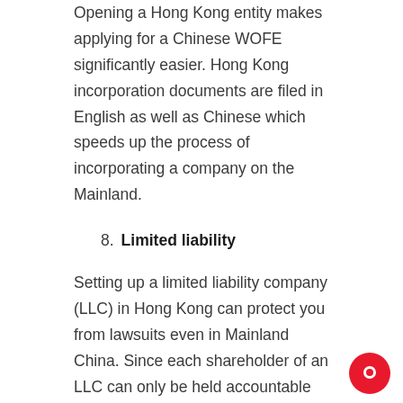Opening a Hong Kong entity makes applying for a Chinese WOFE significantly easier. Hong Kong incorporation documents are filed in English as well as Chinese which speeds up the process of incorporating a company on the Mainland.
8. Limited liability
Setting up a limited liability company (LLC) in Hong Kong can protect you from lawsuits even in Mainland China. Since each shareholder of an LLC can only be held accountable for the capital they have invested and the Hong Kong company is liable for the registered capital in Mainland China, in case of a lawsuit, your personal capital outside of your business would be protected.
No doubt, a Hong Kong company can be highly beneficial to those planning to open up a company in